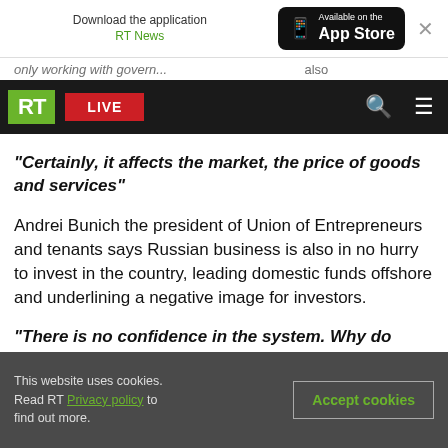Download the application RT News | Available on the App Store
only working with govern... also
RT LIVE
“Certainly, it affects the market, the price of goods and services”
Andrei Bunich the president of Union of Entrepreneurs and tenants says Russian business is also in no hurry to invest in the country, leading domestic funds offshore and underlining a negative image for investors.
“There is no confidence in the system. Why do people here not invest money? Because they do
This website uses cookies. Read RT Privacy policy to find out more.